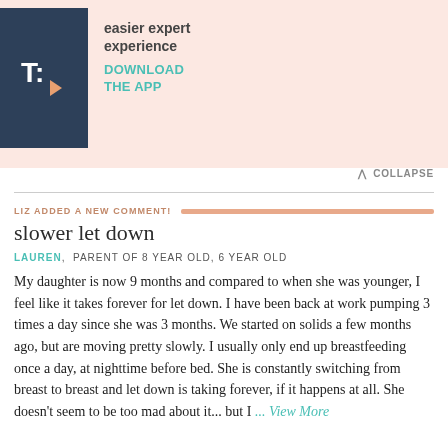[Figure (other): App promotional banner with logo showing 'T:' on dark blue background, text 'easier expert experience' and teal 'DOWNLOAD THE APP' call to action on peach/salmon background]
COLLAPSE
LIZ ADDED A NEW COMMENT!
slower let down
LAUREN, PARENT OF 8 YEAR OLD, 6 YEAR OLD
My daughter is now 9 months and compared to when she was younger, I feel like it takes forever for let down. I have been back at work pumping 3 times a day since she was 3 months. We started on solids a few months ago, but are moving pretty slowly. I usually only end up breastfeeding once a day, at nighttime before bed. She is constantly switching from breast to breast and let down is taking forever, if it happens at all. She doesn't seem to be too mad about it... but I ... View More